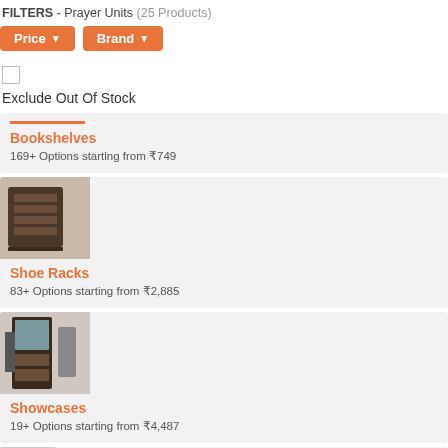FILTERS - Prayer Units (25 Products)
[Figure (screenshot): Two orange filter buttons: Price (with dropdown arrow) and Brand (with dropdown arrow)]
[Figure (screenshot): Checkbox (unchecked)]
Exclude Out Of Stock
Bookshelves
169+ Options starting from ₹749
[Figure (photo): Thumbnail image of a dark wooden shoe rack/cabinet]
Shoe Racks
83+ Options starting from ₹2,885
[Figure (photo): Thumbnail image of a tall dark wooden showcase/display cabinet]
Showcases
19+ Options starting from ₹4,487
[Figure (photo): Partial thumbnail image of another furniture item at the bottom]